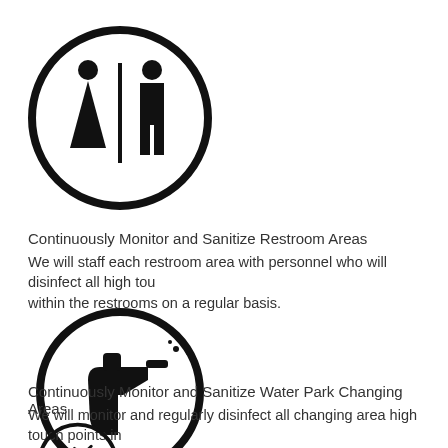[Figure (illustration): Black circle icon with male and female restroom symbols side by side with a vertical dividing line]
Continuously Monitor and Sanitize Restroom Areas
We will staff each restroom area with personnel who will disinfect all high tou within the restrooms on a regular basis.
[Figure (illustration): Black circle icon with a spray bottle/sanitizer dispenser silhouette]
Continuously Monitor and Sanitize Water Park Changing Areas
We will monitor and regularly disinfect all changing area high touch points in
[Figure (illustration): Partially visible black circle icon at bottom of page]